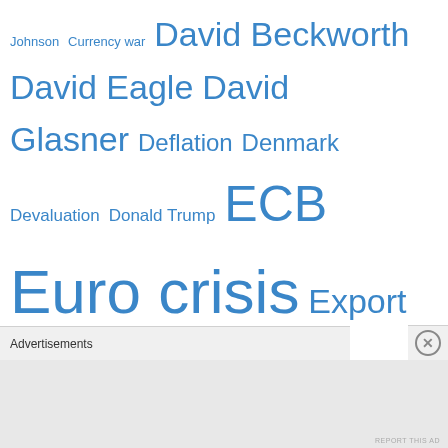[Figure (infographic): Tag cloud of economics and monetary policy related terms in varying font sizes indicating frequency/importance. Terms include: Johnson, Currency war, David Beckworth, David Eagle, David Glasner, Deflation, Denmark, Devaluation, Donald Trump, ECB, Euro crisis, Export Price Norm, fear-of-floating, Federal Reserve, Fiscal cliff, Fiscal policy, Floating exchange rates, Free Banking, George Selgin, Germany, Gold Standard, Great Depression, Great Recession, Greece, Grexit, Gustav Cassel, Haruhiko Kuroda, Hayek, Iceland, Inflation Targeting, Irving Fisher, Janet Yellen, Japan, Jeffrey Frankel, Larry White, Lars E. O. Svensson, M-pesa, Marcus Nunes, Mario Draghi, Mark Carney, Market Monetarism, Market Monetarist]
Advertisements